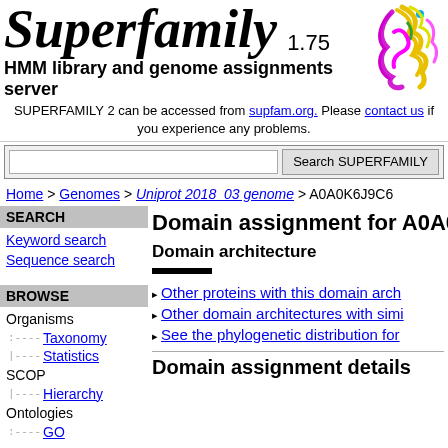Superfamily 1.75
HMM library and genome assignments server
SUPERFAMILY 2 can be accessed from supfam.org. Please contact us if you experience any problems.
Search SUPERFAMILY [search box]
Home > Genomes > Uniprot 2018_03 genome > A0A0K6J9C6
SEARCH
Keyword search
Sequence search
BROWSE
Organisms
Taxonomy
Statistics
SCOP
Hierarchy
Ontologies
GO
Domain assignment for A0A0
Domain architecture
Other proteins with this domain arch
Other domain architectures with simi
See the phylogenetic distribution for
Domain assignment details